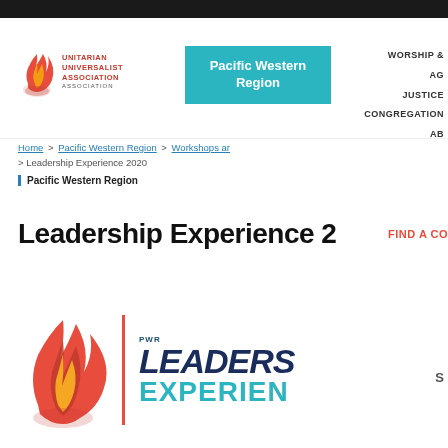[Figure (logo): Unitarian Universalist Association logo with flame icon and text]
[Figure (logo): Pacific Western Region teal banner]
WORSHIP & | AG | JUSTICE | CONGREGATION | AB
Home > Pacific Western Region > Workshops an > Leadership Experience 2020
Pacific Western Region
Leadership Experience 2
FIND A CO
[Figure (logo): PWR Leadership Experience logo with flame icon, red divider, LEADERS and EXPERIEN text]